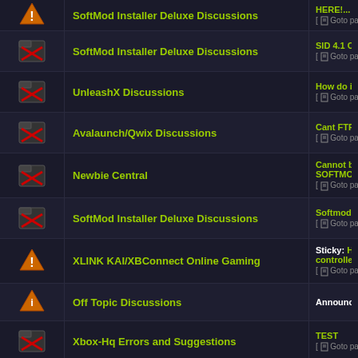SoftMod Installer Deluxe Discussions | HERE... Goto page: 1 ... 3, 4, 5
SoftMod Installer Deluxe Discussions | SID 4.1 Change Log, Pro... Goto page: 1, 2, 3, 4
UnleashX Discussions | How do i update the das... Goto page: 1, 2, 3
Avalaunch/Qwix Discussions | Cant FTP to my xbox. er... Goto page: 1, 2
Newbie Central | Cannot backup MS Dash... SOFTMOD" Goto page: 1, 2
SoftMod Installer Deluxe Discussions | Softmod Installer Deluxe... Goto page: 1 ... 4, 5, 6
XLINK KAI/XBConnect Online Gaming | Sticky: How to enable Xl... controlled by XBMC Goto page: 1, 2
Off Topic Discussions | Announcement: My goo...
Xbox-Hq Errors and Suggestions | TEST Goto page: 1, 2
Auto-Installer Deluxe Discussions | Auto-Installer Deluxe v3... Goto page: 1 ... 12, 13, 14
SoftMod Installer Deluxe Discussions | Set Clock everytime, am...